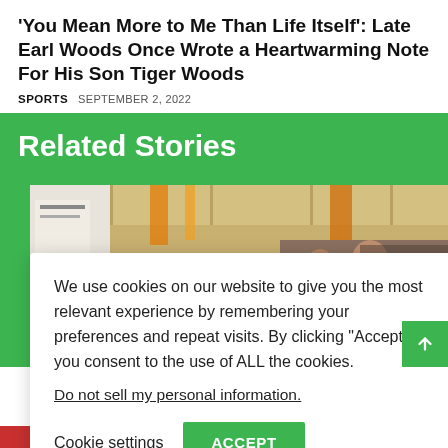'You Mean More to Me Than Life Itself': Late Earl Woods Once Wrote a Heartwarming Note For His Son Tiger Woods
SPORTS   SEPTEMBER 2, 2022
Related Stories
[Figure (photo): Background photo of people in a crowd, partial view with yellow/orange decorations visible]
We use cookies on our website to give you the most relevant experience by remembering your preferences and repeat visits. By clicking “Accept”, you consent to the use of ALL the cookies.

Do not sell my personal information.

Cookie settings   ACCEPT